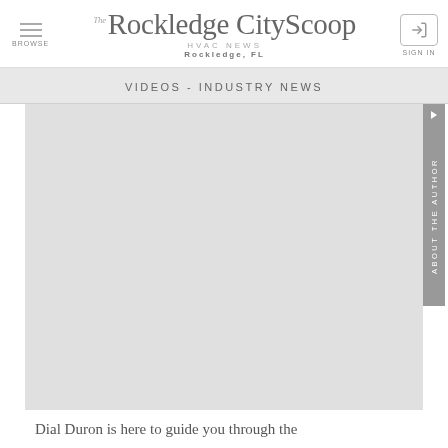The Rockledge CityScoop — HVAC NEWS — Rockledge, FL
VIDEOS - INDUSTRY NEWS
[Figure (screenshot): Large gray content area placeholder for embedded video]
Dial Duron is here to guide you through the